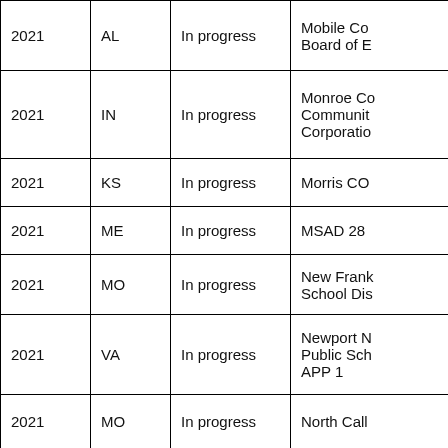| 2021 | AL | In progress | Mobile Co Board of E |
| 2021 | IN | In progress | Monroe Co Communit Corporatio |
| 2021 | KS | In progress | Morris CO |
| 2021 | ME | In progress | MSAD 28 |
| 2021 | MO | In progress | New Frank School Dis |
| 2021 | VA | In progress | Newport N Public Sch APP 1 |
| 2021 | MO | In progress | North Call |